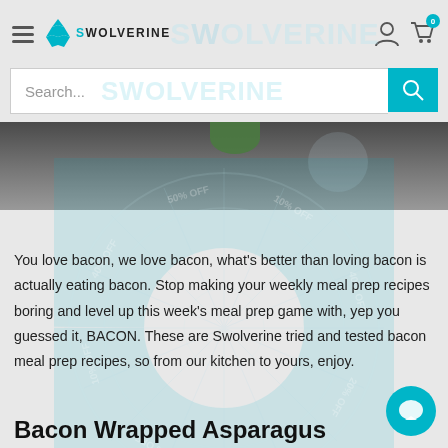Swolverine
[Figure (screenshot): Swolverine website header with hamburger menu, logo, watermark, user icon, cart icon with 0 badge]
[Figure (photo): Dark grey stone background with green herb visible at top center, spin wheel overlay with discount percentages]
You love bacon, we love bacon, what's better than loving bacon is actually eating bacon. Stop making your weekly meal prep recipes boring and level up this week's meal prep game with, yep you guessed it, BACON. These are Swolverine tried and tested bacon meal prep recipes, so from our kitchen to yours, enjoy.
Bacon Wrapped Asparagus